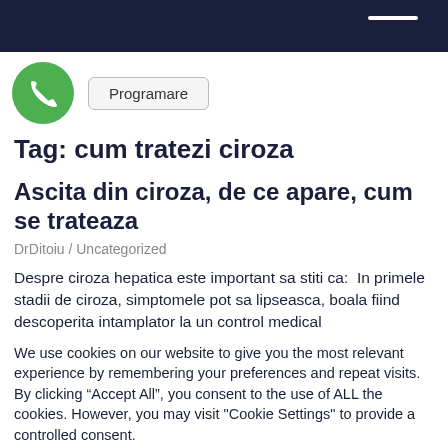[Figure (logo): Green phone circle icon and Programare button in header]
Tag: cum tratezi ciroza
Ascita din ciroza, de ce apare, cum se trateaza
DrDitoiu / Uncategorized
Despre ciroza hepatica este important sa stiti ca:  In primele stadii de ciroza, simptomele pot sa lipseasca, boala fiind descoperita intamplator la un control medical
We use cookies on our website to give you the most relevant experience by remembering your preferences and repeat visits. By clicking “Accept All”, you consent to the use of ALL the cookies. However, you may visit "Cookie Settings" to provide a controlled consent.
Cookie Settings | Accept All